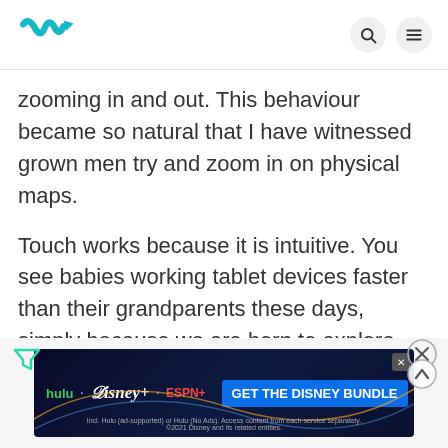Wunderly logo with search and menu icons
zooming in and out. This behaviour became so natural that I have witnessed grown men try and zoom in on physical maps.
Touch works because it is intuitive. You see babies working tablet devices faster than their grandparents these days, simply because we are born to explore things with our fingers. It's innate and reminds us of back where we started during the beginning of communication.
[Figure (screenshot): Disney Bundle advertisement banner with Hulu, Disney+, and ESPN+ logos and 'GET THE DISNEY BUNDLE' call to action button. Fine print: Incl. Hulu (ad-supported) or Hulu (No Ads). Access content from each service separately. ©2021 Disney and its related entities.]